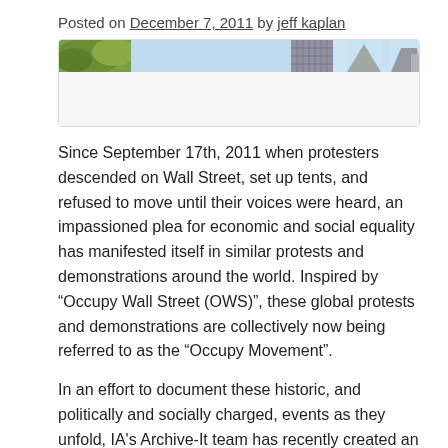Posted on December 7, 2011 by jeff kaplan
[Figure (photo): A panoramic banner image showing outdoor scenes including trees, sky, and building structures]
Since September 17th, 2011 when protesters descended on Wall Street, set up tents, and refused to move until their voices were heard, an impassioned plea for economic and social equality has manifested itself in similar protests and demonstrations around the world. Inspired by “Occupy Wall Street (OWS)”, these global protests and demonstrations are collectively now being referred to as the “Occupy Movement”.
In an effort to document these historic, and politically and socially charged, events as they unfold, IA's Archive-It team has recently created an “Occupy Movement” collection to begin capturing information about the movement found online. With